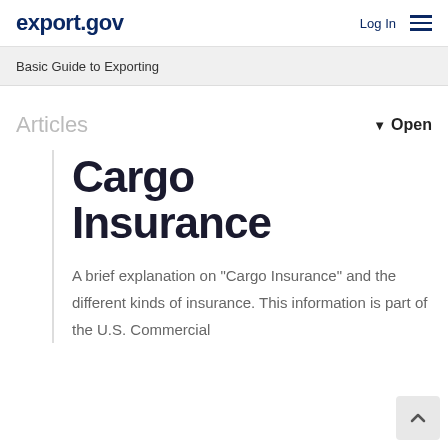export.gov
Basic Guide to Exporting
Articles
Open
Cargo Insurance
A brief explanation on "Cargo Insurance" and the different kinds of insurance. This information is part of the U.S. Commercial